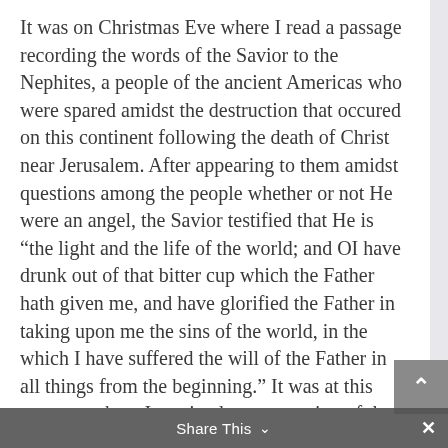It was on Christmas Eve where I read a passage recording the words of the Savior to the Nephites, a people of the ancient Americas who were spared amidst the destruction that occured on this continent following the death of Christ near Jerusalem. After appearing to them amidst questions among the people whether or not He were an angel, the Savior testified that He is “the light and the life of the world; and OI have drunk out of that bitter cup which the Father hath given me, and have glorified the Father in taking upon me the sins of the world, in the which I have suffered the will of the Father in all things from the beginning.” It was at this moment where I received an outpouring of the Holy Spirit of the love that both our Father in Heaven and His Son have to sacrifice beyond human comprehension on our behalf so that we may become sanctified and worthy to know of Their love to the fullest and to enjoy the life that They enjoy today. I have always been moved by the pure words of the
Share This